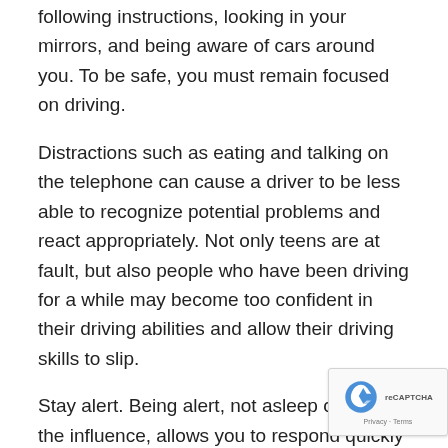following instructions, looking in your mirrors, and being aware of cars around you. To be safe, you must remain focused on driving.
Distractions such as eating and talking on the telephone can cause a driver to be less able to recognize potential problems and react appropriately. Not only teens are at fault, but also people who have been driving for a while may become too confident in their driving abilities and allow their driving skills to slip.
Stay alert. Being alert, not asleep or under the influence, allows you to respond quickly to potential issues — such as the driver ahead who suddenly applies the brakes. Evidently, drivers' judgment and reaction times can be affected by alcohol and other...